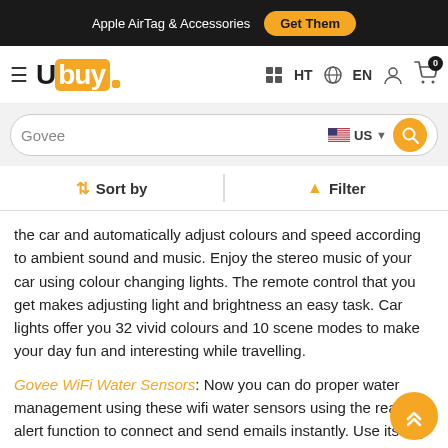Apple AirTag & Accessories  Get Them
[Figure (logo): Ubuy logo with hamburger menu, HT, EN, user and cart icons in navigation bar]
Govee (search input)
Sort by   Filter
the car and automatically adjust colours and speed according to ambient sound and music. Enjoy the stereo music of your car using colour changing lights. The remote control that you get makes adjusting light and brightness an easy task. Car lights offer you 32 vivid colours and 10 scene modes to make your day fun and interesting while travelling.
Govee WiFi Water Sensors: Now you can do proper water management using these wifi water sensors using the real time alert function to connect and send emails instantly. Use its app to get notifications and alerts regarding water leakage at home; as this brand has used a 100dB alarm that is efficiently loud enough to hear. The wifi water sensors can